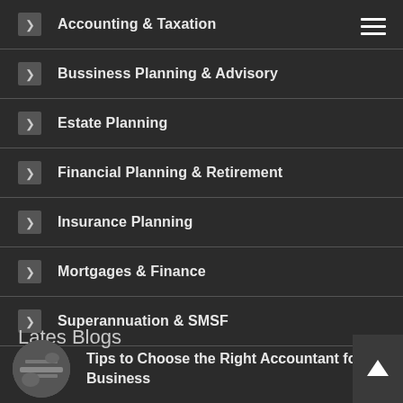Accounting & Taxation
Bussiness Planning & Advisory
Estate Planning
Financial Planning & Retirement
Insurance Planning
Mortgages & Finance
Superannuation & SMSF
Lates Blogs
Tips to Choose the Right Accountant for Your Business